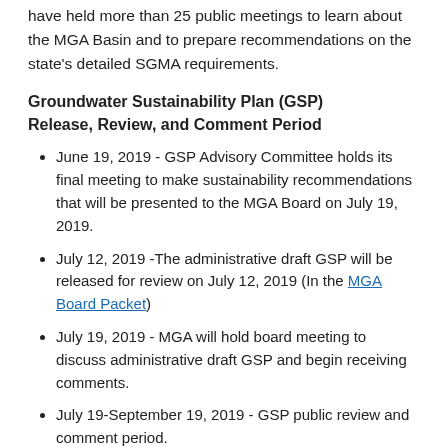have held more than 25 public meetings to learn about the MGA Basin and to prepare recommendations on the state's detailed SGMA requirements.
Groundwater Sustainability Plan (GSP) Release, Review, and Comment Period
June 19, 2019 - GSP Advisory Committee holds its final meeting to make sustainability recommendations that will be presented to the MGA Board on July 19, 2019.
July 12, 2019 -The administrative draft GSP will be released for review on July 12, 2019 (In the MGA Board Packet)
July 19, 2019 - MGA will hold board meeting to discuss administrative draft GSP and begin receiving comments.
July 19-September 19, 2019 - GSP public review and comment period.